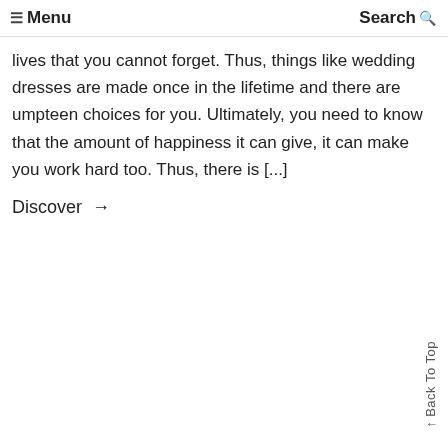☰ Menu   Search 🔍
lives that you cannot forget. Thus, things like wedding dresses are made once in the lifetime and there are umpteen choices for you. Ultimately, you need to know that the amount of happiness it can give, it can make you work hard too. Thus, there is [...]
Discover →
Back To Top ↑